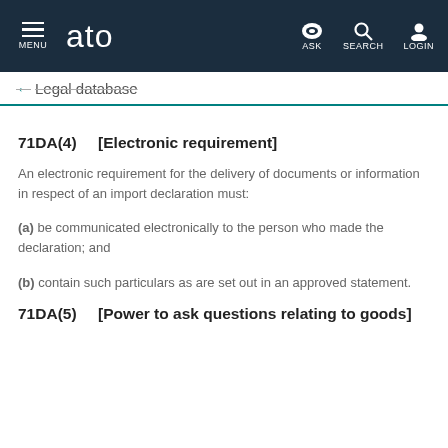MENU | ato | ASK | SEARCH | LOGIN
← Legal database
71DA(4)    [Electronic requirement]
An electronic requirement for the delivery of documents or information in respect of an import declaration must:
(a) be communicated electronically to the person who made the declaration; and
(b) contain such particulars as are set out in an approved statement.
71DA(5)    [Power to ask questions relating to goods]